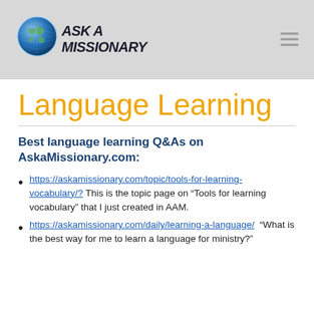Ask a Missionary
Language Learning
Best language learning Q&As on AskaMissionary.com:
https://askamissionary.com/topic/tools-for-learning-vocabulary/? This is the topic page on “Tools for learning vocabulary” that I just created in AAM.
https://askamissionary.com/daily/learning-a-language/  “What is the best way for me to learn a language for ministry?”